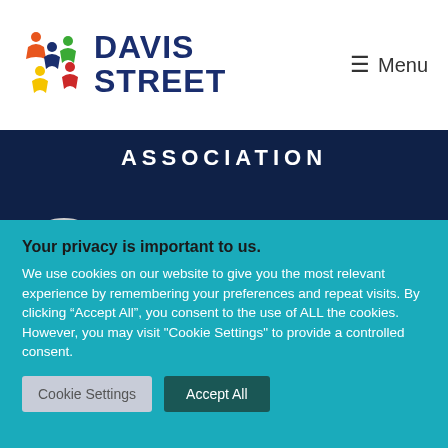[Figure (logo): Davis Street organization logo with colorful figures and text DAVIS STREET]
Menu
ASSOCIATION
[Figure (logo): Circular seal/emblem partially visible]
Your privacy is important to us.
We use cookies on our website to give you the most relevant experience by remembering your preferences and repeat visits. By clicking “Accept All”, you consent to the use of ALL the cookies. However, you may visit "Cookie Settings" to provide a controlled consent.
Cookie Settings
Accept All